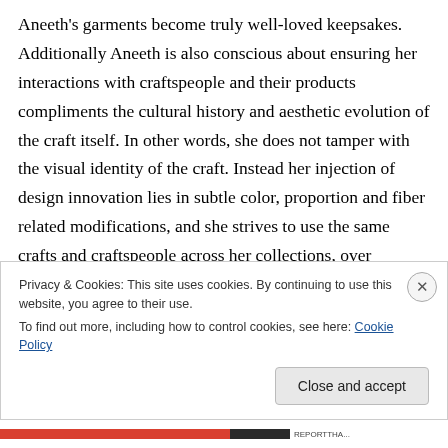Aneeth's garments become truly well-loved keepsakes. Additionally Aneeth is also conscious about ensuring her interactions with craftspeople and their products compliments the cultural history and aesthetic evolution of the craft itself. In other words, she does not tamper with the visual identity of the craft. Instead her injection of design innovation lies in subtle color, proportion and fiber related modifications, and she strives to use the same crafts and craftspeople across her collections, over multiple seasons; as opposed to fashionalizing a certain technique, region and craft for one season or for the sake
Privacy & Cookies: This site uses cookies. By continuing to use this website, you agree to their use.
To find out more, including how to control cookies, see here: Cookie Policy